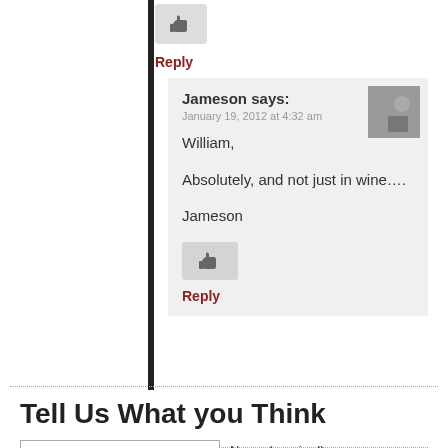[Figure (other): Thumbs up / like button (outer comment)]
Reply
Jameson says:
January 19, 2012 at 4:32 am
William,

Absolutely, and not just in wine….

Jameson
[Figure (other): Thumbs up / like button (nested comment)]
Reply
Tell Us What you Think
Name (required)
Mail (will not be published)
(required)